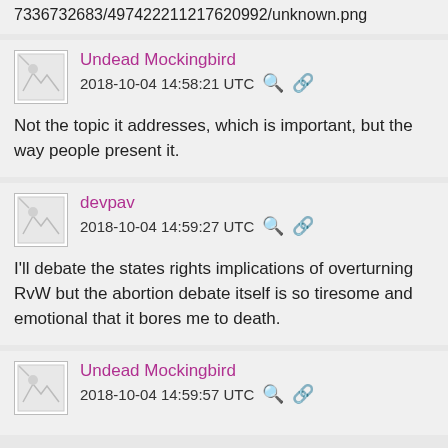7336732683/497422211217620992/unknown.png
Undead Mockingbird
2018-10-04 14:58:21 UTC
Not the topic it addresses, which is important, but the way people present it.
devpav
2018-10-04 14:59:27 UTC
I'll debate the states rights implications of overturning RvW but the abortion debate itself is so tiresome and emotional that it bores me to death.
Undead Mockingbird
2018-10-04 14:59:57 UTC